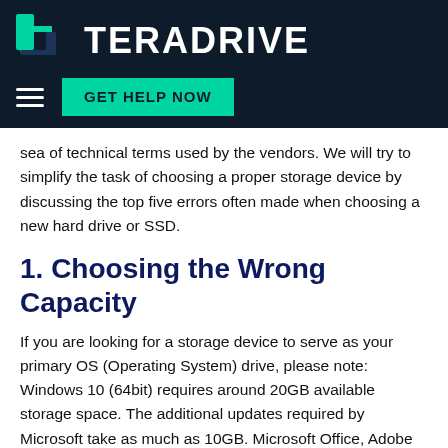TERADRIVE | GET HELP NOW
sea of technical terms used by the vendors. We will try to simplify the task of choosing a proper storage device by discussing the top five errors often made when choosing a new hard drive or SSD.
1. Choosing the Wrong Capacity
If you are looking for a storage device to serve as your primary OS (Operating System) drive, please note: Windows 10 (64bit) requires around 20GB available storage space. The additional updates required by Microsoft take as much as 10GB. Microsoft Office, Adobe tools, iTunes, and other commonly installed programs can take another 20-30 GB.